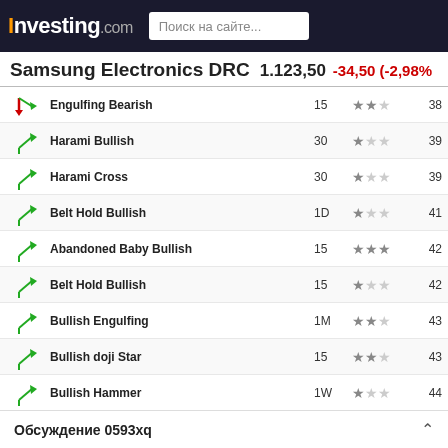Investing.com | Поиск на сайте...
Samsung Electronics DRC  1.123,50  -34,50 (-2,98%)
| Icon | Pattern | Period | Reliability | Candles |
| --- | --- | --- | --- | --- |
| ↘ | Engulfing Bearish | 15 | ★★☆ | 38 |
| ↗ | Harami Bullish | 30 | ★☆☆ | 39 |
| ↗ | Harami Cross | 30 | ★☆☆ | 39 |
| ↗ | Belt Hold Bullish | 1D | ★☆☆ | 41 |
| ↗ | Abandoned Baby Bullish | 15 | ★★★ | 42 |
| ↗ | Belt Hold Bullish | 15 | ★☆☆ | 42 |
| ↗ | Bullish Engulfing | 1M | ★★☆ | 43 |
| ↗ | Bullish doji Star | 15 | ★★☆ | 43 |
| ↗ | Bullish Hammer | 1W | ★☆☆ | 44 |
| ↗ | Bullish doji Star | 1M | ★★☆ | 45 |
| ↗ | Inverted Hammer | 1H | ★☆☆ | 45 |
| ↗ | Dragonfly Doji | 1H | ★★☆ | 46 |
| ↗ | Belt Hold Bullish | 1D | ★☆☆ | 47 |
| ↗ | Dragonfly Doji | ... | ... | ... |
| ↗ | Harami B... | ... | ... | ... |
Обсуждение 0593xq